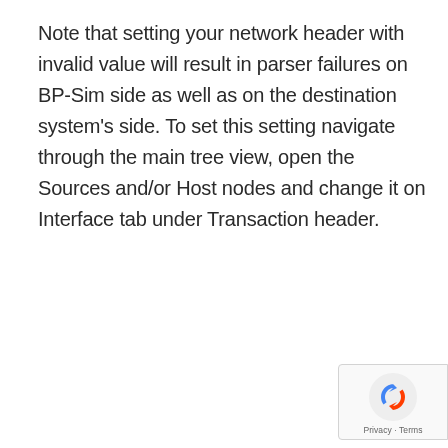Note that setting your network header with invalid value will result in parser failures on BP-Sim side as well as on the destination system's side. To set this setting navigate through the main tree view, open the Sources and/or Host nodes and change it on Interface tab under Transaction header.
[Figure (logo): Google reCAPTCHA badge with logo and Privacy/Terms links]